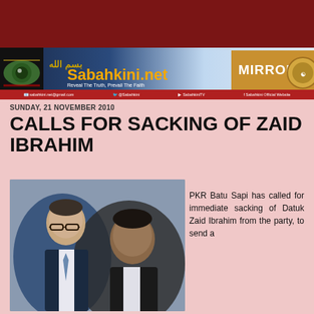[Figure (screenshot): Sabahkini.net website header banner with eye graphic, Arabic text, site title in gold, taglines 'Reveal The Truth, Prevail The Faith / Membongkar Kebenaran, Mempertahankan Kejujuran', MIRROR badge, and social media links bar]
SUNDAY, 21 NOVEMBER 2010
CALLS FOR SACKING OF ZAID IBRAHIM
[Figure (photo): Two men in dark suits, one wearing glasses in the foreground]
PKR Batu Sapi has called for immediate sacking of Datuk Zaid Ibrahim from the party, to send a